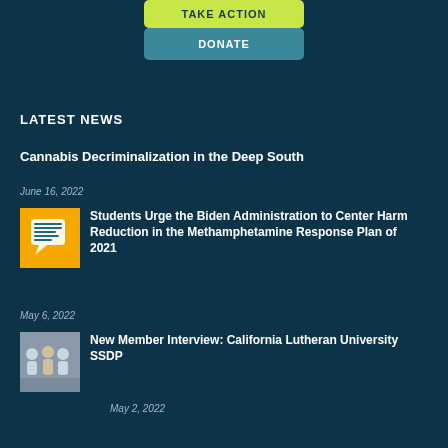[Figure (other): Yellow-green 'TAKE ACTION' button (partially visible at top)]
[Figure (other): Teal 'DONATE' button]
LATEST NEWS
Cannabis Decriminalization in the Deep South
June 16, 2022
[Figure (illustration): Yellow square thumbnail with speech bubble graphic about students and Biden administration]
Students Urge the Biden Administration to Center Harm Reduction in the Methamphetamine Response Plan of 2021
May 6, 2022
[Figure (photo): Group photo of students at California Lutheran University SSDP]
New Member Interview: California Lutheran University SSDP
May 2, 2022